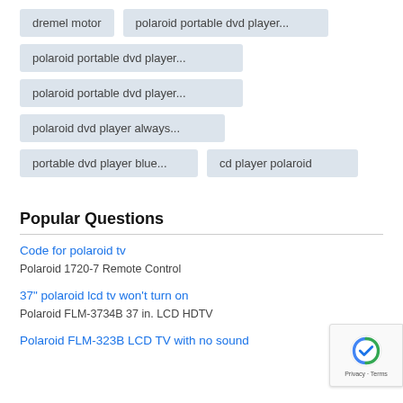dremel motor
polaroid portable dvd player...
polaroid portable dvd player...
polaroid portable dvd player...
polaroid dvd player always...
portable dvd player blue...
cd player polaroid
Popular Questions
Code for polaroid tv
Polaroid 1720-7 Remote Control
37" polaroid lcd tv won't turn on
Polaroid FLM-3734B 37 in. LCD HDTV
Polaroid FLM-323B LCD TV with no sound